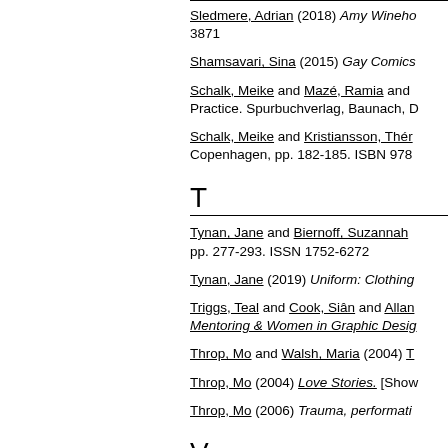Sledmere, Adrian (2018) Amy Wineho... 3871
Shamsavari, Sina (2015) Gay Comics...
Schalk, Meike and Mazé, Ramia and ... Practice. Spurbuchverlag, Baunach, D...
Schalk, Meike and Kristiansson, Thér... Copenhagen, pp. 182-185. ISBN 978...
T
Tynan, Jane and Biernoff, Suzannah ... pp. 277-293. ISSN 1752-6272
Tynan, Jane (2019) Uniform: Clothing...
Triggs, Teal and Cook, Siân and Allan... Mentoring & Women in Graphic Desig...
Throp, Mo and Walsh, Maria (2004) T...
Throp, Mo (2004) Love Stories. [Show...
Throp, Mo (2006) Trauma, performati...
V